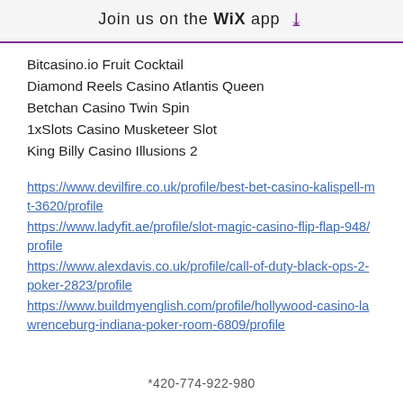Join us on the WiX app ↓
Bitcasino.io Fruit Cocktail
Diamond Reels Casino Atlantis Queen
Betchan Casino Twin Spin
1xSlots Casino Musketeer Slot
King Billy Casino Illusions 2
https://www.devilfire.co.uk/profile/best-bet-casino-kalispell-mt-3620/profile
https://www.ladyfit.ae/profile/slot-magic-casino-flip-flap-948/profile
https://www.alexdavis.co.uk/profile/call-of-duty-black-ops-2-poker-2823/profile
https://www.buildmyenglish.com/profile/hollywood-casino-lawrenceburg-indiana-poker-room-6809/profile
*420-774-922-980